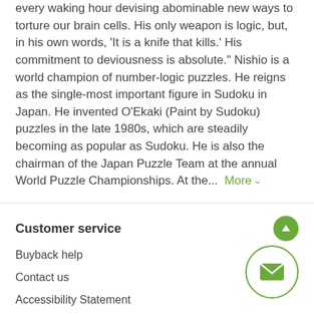every waking hour devising abominable new ways to torture our brain cells. His only weapon is logic, but, in his own words, 'It is a knife that kills.' His commitment to deviousness is absolute." Nishio is a world champion of number-logic puzzles. He reigns as the single-most important figure in Sudoku in Japan. He invented O'Ekaki (Paint by Sudoku) puzzles in the late 1980s, which are steadily becoming as popular as Sudoku. He is also the chairman of the Japan Puzzle Team at the annual World Puzzle Championships. At the...  More ∨
Customer service
Buyback help
Contact us
Accessibility Statement
Customer account home
Help and general policies